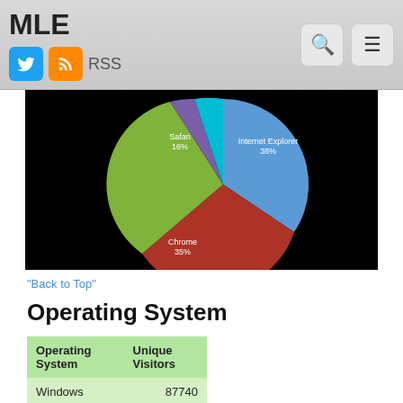MLE  RSS
[Figure (pie-chart): Browser Share]
"Back to Top"
Operating System
| Operating System | Unique Visitors |
| --- | --- |
| Windows | 87740 |